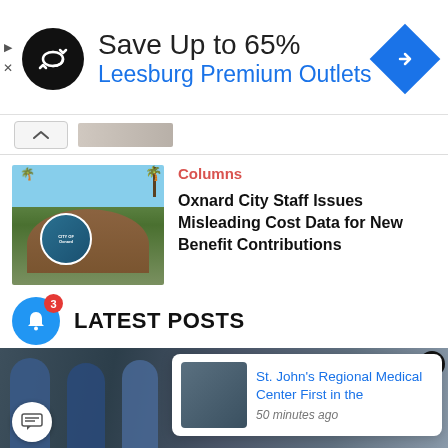[Figure (screenshot): Advertisement banner: circular black logo with infinity-like arrow symbol, text 'Save Up to 65% Leesburg Premium Outlets', blue diamond navigation icon on right]
[Figure (photo): City of Oxnard welcome sign with palm trees in background]
Columns
Oxnard City Staff Issues Misleading Cost Data for New Benefit Contributions
LATEST POSTS
[Figure (photo): Medical staff in scrubs and masks in a hospital or surgical setting]
St. John's Regional Medical Center First in the
50 minutes ago